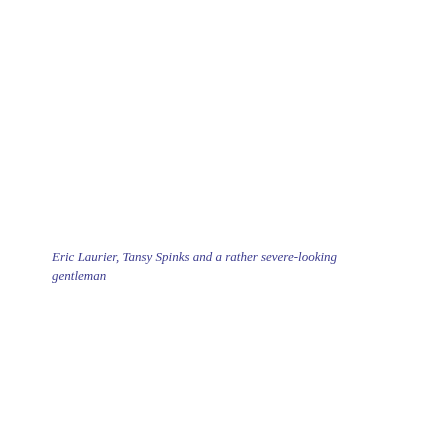Eric Laurier, Tansy Spinks and a rather severe-looking gentleman